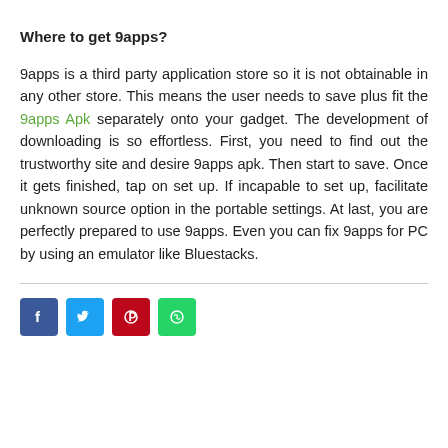Where to get 9apps?
9apps is a third party application store so it is not obtainable in any other store. This means the user needs to save plus fit the 9apps Apk separately onto your gadget. The development of downloading is so effortless. First, you need to find out the trustworthy site and desire 9apps apk. Then start to save. Once it gets finished, tap on set up. If incapable to set up, facilitate unknown source option in the portable settings. At last, you are perfectly prepared to use 9apps. Even you can fix 9apps for PC by using an emulator like Bluestacks.
[Figure (other): Social share buttons: Facebook, Twitter, Pinterest, WhatsApp]